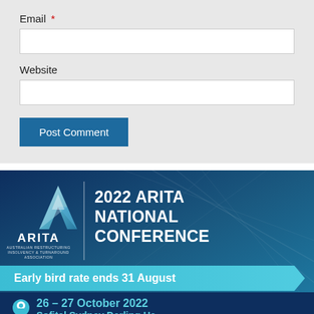Email *
Website
Post Comment
[Figure (illustration): ARITA 2022 National Conference advertisement banner. Dark blue background with geometric line patterns. Features ARITA logo (crystal/gem shaped 'A'), text '2022 ARITA NATIONAL CONFERENCE' in white bold letters, a teal banner reading 'Early bird rate ends 31 August', and a location row showing '26 - 27 October 2022' and 'Softel Sydney Darling Har...' in teal with a location pin icon.]